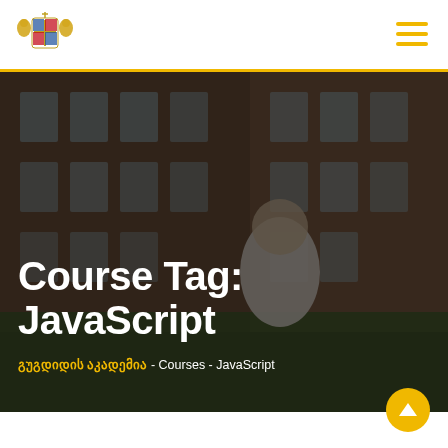გუგდიდის აკადემია - header with logo and hamburger menu
[Figure (photo): Hero image of a university building (brick facade with windows) with a woman in white sleeveless top in the foreground. Dark overlay applied. White bold text reads 'Course Tag: JavaScript'. Breadcrumb text below in Georgian and English.]
Course Tag: JavaScript
გუგდიდის აკადემია - Courses - JavaScript